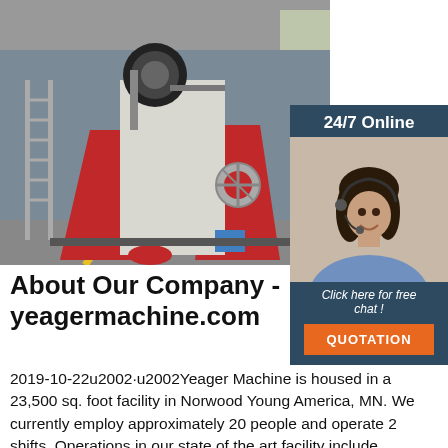[Figure (photo): Industrial machine (red and white spring coiling or wire bending machine) in a factory setting, with yellow floor marking visible]
[Figure (photo): Online chat widget showing a female customer service agent wearing a headset, with '24/7 Online' header, 'Click here for free chat!' text, and an orange QUOTATION button]
About Our Company - yeagermachine.com
2019-10-22u2002·u2002Yeager Machine is housed in a 23,500 sq. foot facility in Norwood Young America, MN. We currently employ approximately 20 people and operate 2 shifts. Operations in our state of the art facility include